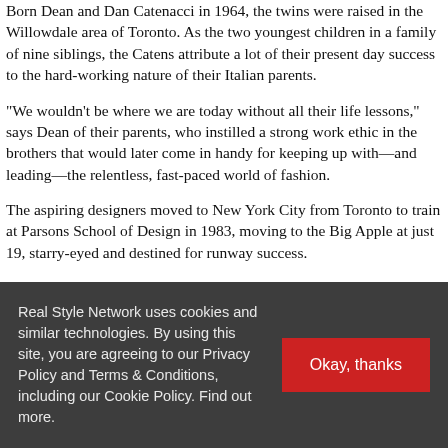Born Dean and Dan Catenacci in 1964, the twins were raised in the Willowdale area of Toronto. As the two youngest children in a family of nine siblings, the Catens attribute a lot of their present day success to the hard-working nature of their Italian parents.
“We wouldn’t be where we are today without all their life lessons,” says Dean of their parents, who instilled a strong work ethic in the brothers that would later come in handy for keeping up with—and leading—the relentless, fast-paced world of fashion.
The aspiring designers moved to New York City from Toronto to train at Parsons School of Design in 1983, moving to the Big Apple at just 19, starry-eyed and destined for runway success.
“We always felt like we had something to say and we had a knack for putting outfits together. It’s something that felt very natural and effortless—so much so that I’d say it was like a calling. It’s been 20 years now and we’re grateful to still be doing what we love,” they say, reflecting on
Real Style Network uses cookies and similar technologies. By using this site, you are agreeing to our Privacy Policy and Terms & Conditions, including our Cookie Policy. Find out more.